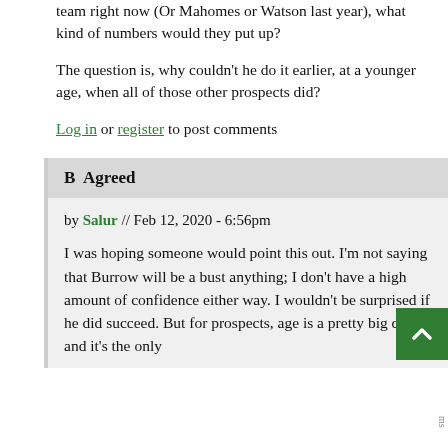team right now (Or Mahomes or Watson last year), what kind of numbers would they put up?
The question is, why couldn't he do it earlier, at a younger age, when all of those other prospects did?
Log in or register to post comments
B  Agreed
by Salur // Feb 12, 2020 - 6:56pm
I was hoping someone would point this out. I'm not saying that Burrow will be a bust anything; I don't have a high amount of confidence either way. I wouldn't be surprised if he did succeed. But for prospects, age is a pretty big deal, and it's the only